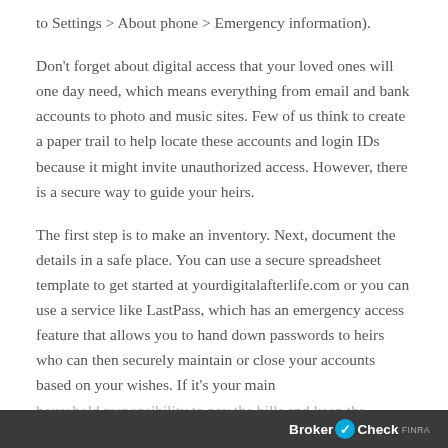to Settings > About phone > Emergency information).
Don't forget about digital access that your loved ones will one day need, which means everything from email and bank accounts to photo and music sites. Few of us think to create a paper trail to help locate these accounts and login IDs because it might invite unauthorized access. However, there is a secure way to guide your heirs.
The first step is to make an inventory. Next, document the details in a safe place. You can use a secure spreadsheet template to get started at yourdigitalafterlife.com or you can use a service like LastPass, which has an emergency access feature that allows you to hand down passwords to heirs who can then securely maintain or close your accounts based on your wishes. If it's your main household responsibility to pay the bills and keep the
BrokerCheck FINRA